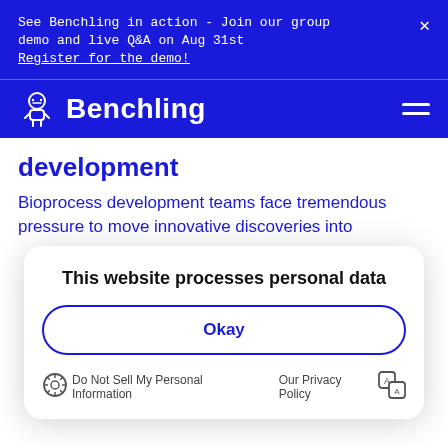See Benchling in action - Join our group demo and live Q&A on Aug 31st
Register for the demo!
[Figure (logo): Benchling logo — robot/microscope icon and 'Benchling' wordmark in white on dark blue background, with hamburger menu icon on right]
development
Bioprocess development teams face tremendous pressure to move innovative discoveries into
This website processes personal data
Okay
Do Not Sell My Personal Information   Our Privacy Policy